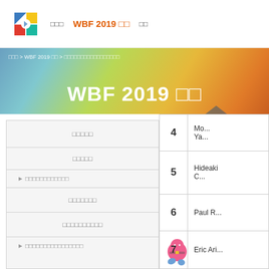□□□  WBF 2019 □□  □□
□□□ > WBF 2019 □□ > □□□□□□□□□□□□□□□□□
WBF 2019 □□
□□□□□
□□□□□
▶ □□□□□□□□□□□□
□□□□□□□
□□□□□□□□□□
▶ □□□□□□□□□□□□□□□□
| # | Name |
| --- | --- |
| 4 | Mo...
Ya... |
| 5 | Hideaki
C... |
| 6 | Paul R... |
| 7 | Eric Ari... |
[Figure (illustration): Mascot character - pink and blue cartoon figure]